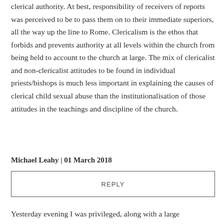clerical authority. At best, responsibility of receivers of reports was perceived to be to pass them on to their immediate superiors, all the way up the line to Rome. Clericalism is the ethos that forbids and prevents authority at all levels within the church from being held to account to the church at large. The mix of clericalist and non-clericalist attitudes to be found in individual priests/bishops is much less important in explaining the causes of clerical child sexual abuse than the institutionalisation of those attitudes in the teachings and discipline of the church.
Michael Leahy | 01 March 2018
REPLY
Yesterday evening I was privileged, along with a large